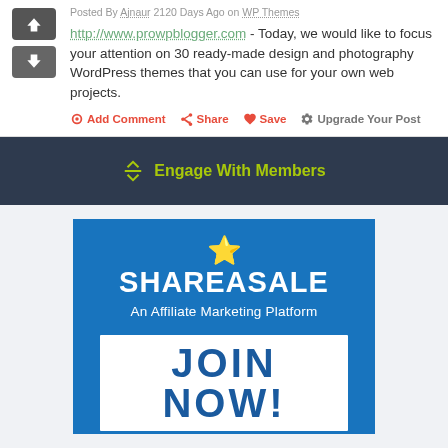Posted By Ajnaur 2120 Days Ago on WP Themes
http://www.prowpblogger.com - Today, we would like to focus your attention on 30 ready-made design and photography WordPress themes that you can use for your own web projects.
Add Comment  Share  Save  Upgrade Your Post
Engage With Members
[Figure (advertisement): ShareASale affiliate marketing platform advertisement with JOIN NOW button]